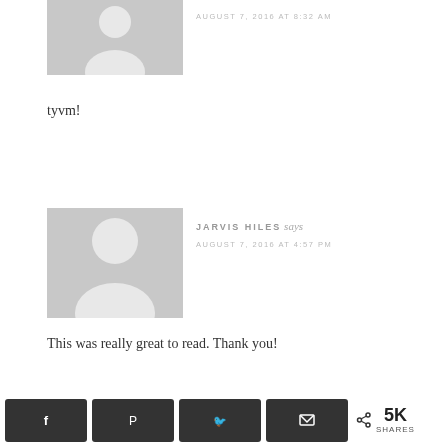[Figure (illustration): Generic user avatar placeholder (gray silhouette on light gray background)]
AUGUST 7, 2016 AT 8:32 AM
tyvm!
[Figure (illustration): Generic user avatar placeholder (gray silhouette on light gray background)]
JARVIS HILES says
AUGUST 7, 2016 AT 4:57 PM
This was really great to read. Thank you!
5K SHARES